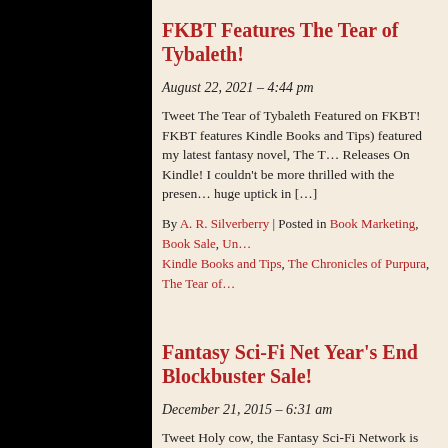FKBT Features The Tear of Tybaleth!
August 22, 2021 – 4:44 pm
Tweet The Tear of Tybaleth Featured on FKBT! FKBT features (Kindle Books and Tips) featured my latest fantasy novel, The Tear of... Releases On Kindle! I couldn't be more thrilled with the presentation, huge uptick in […]
By A. R. Silverberry | Posted in Book Marketing, Book Sale, Un... Kindle Books and Tips, The Chronicles of Purpura, The Tear of...
Fantasy Sci-Fi Net Year's End Blockbuster Sale!
December 21, 2015 – 6:31 am
Tweet Holy cow, the Fantasy Sci-Fi Network is hosting an out of... December 19 begins an eBook extravaganza: free books, 99-c... fantasy and science fiction books from award-winning and best... L.R.W. Lee, J.D. Hallowell, and yours truly; plus up-and-coming...
By A. R. Silverberry | Posted in Book Sale | Also tagged Book S... Network, Fantasy Science Fiction Network, Free Books, FSF N... Wyndano's Cloak | Comments (0)